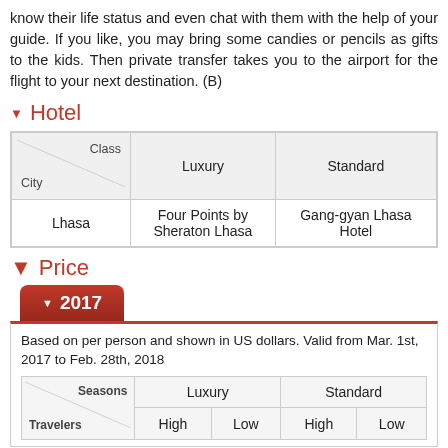know their life status and even chat with them with the help of your guide. If you like, you may bring some candies or pencils as gifts to the kids. Then private transfer takes you to the airport for the flight to your next destination. (B)
Hotel
| City / Class | Luxury | Standard |
| --- | --- | --- |
| Lhasa | Four Points by Sheraton Lhasa | Gang-gyan Lhasa Hotel |
Price
2017
Based on per person and shown in US dollars. Valid from Mar. 1st, 2017 to Feb. 28th, 2018
| Travelers / Seasons | Luxury High | Luxury Low | Standard High | Standard Low |
| --- | --- | --- | --- | --- |